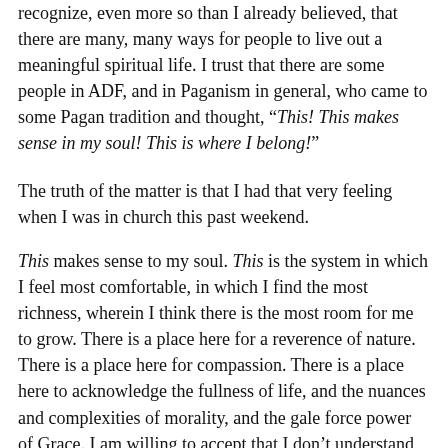recognize, even more so than I already believed, that there are many, many ways for people to live out a meaningful spiritual life. I trust that there are some people in ADF, and in Paganism in general, who came to some Pagan tradition and thought, "This! This makes sense in my soul! This is where I belong!"
The truth of the matter is that I had that very feeling when I was in church this past weekend.
This makes sense to my soul. This is the system in which I feel most comfortable, in which I find the most richness, wherein I think there is the most room for me to grow. There is a place here for a reverence of nature. There is a place here for compassion. There is a place here to acknowledge the fullness of life, and the nuances and complexities of morality, and the gale force power of Grace. I am willing to accept that I don’t understand all there is to know about divinity, and that the Gods that other people worship — some of whom have touched my life in an immediate way — are real in ways that are mysterious to me. But when it comes down to it I’m experiencing a